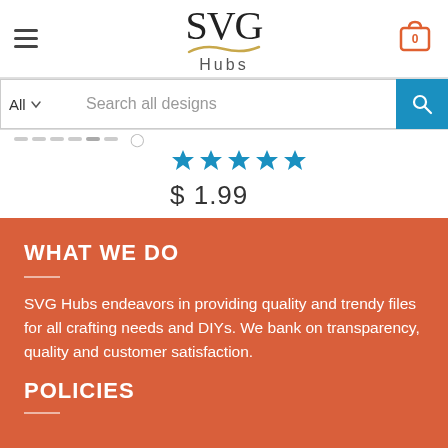SVG Hubs — navigation header with hamburger menu, logo, cart icon showing 0
[Figure (screenshot): Partially visible product listing strip showing star ratings and price $1.99, text 'Messy Bun' and 'n SVG, Lets go']
[Figure (screenshot): Search bar with All dropdown and 'Search all designs' input field with blue search button]
[Figure (screenshot): Product card showing 5-star rating and price $1.99]
WHAT WE DO
SVG Hubs endeavors in providing quality and trendy files for all crafting needs and DIYs. We bank on transparency, quality and customer satisfaction.
POLICIES